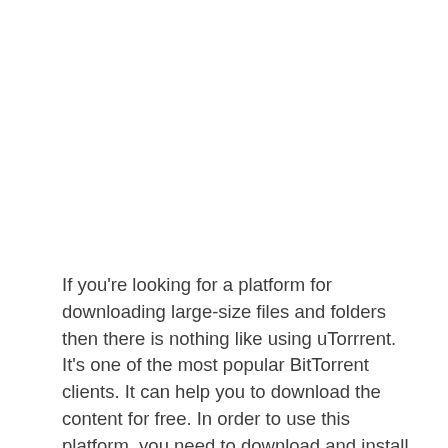If you're looking for a platform for downloading large-size files and folders then there is nothing like using uTorrrent. It's one of the most popular BitTorrent clients. It can help you to download the content for free. In order to use this platform, you need to download and install it for free.